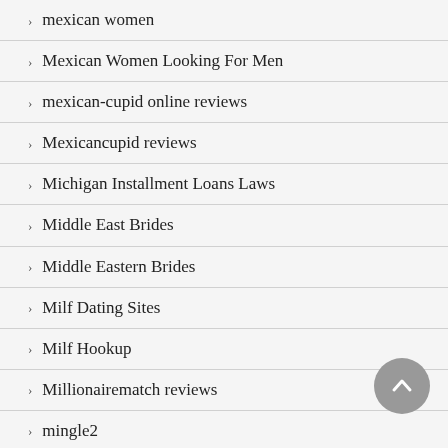mexican women
Mexican Women Looking For Men
mexican-cupid online reviews
Mexicancupid reviews
Michigan Installment Loans Laws
Middle East Brides
Middle Eastern Brides
Milf Dating Sites
Milf Hookup
Millionairematch reviews
mingle2